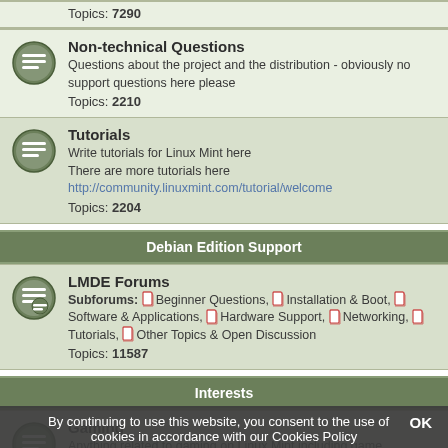Topics: 7290
Non-technical Questions
Questions about the project and the distribution - obviously no support questions here please
Topics: 2210
Tutorials
Write tutorials for Linux Mint here
There are more tutorials here http://community.linuxmint.com/tutorial/welcome
Topics: 2204
Debian Edition Support
LMDE Forums
Subforums: Beginner Questions, Installation & Boot, Software & Applications, Hardware Support, Networking, Tutorials, Other Topics & Open Discussion
Topics: 11587
Interests
Gaming
Anything related to gaming on Linux Mint including game discussion or questions concerning Steam or Wine.
Topics: 1255
Scripts & Bash
About writing shell scripts and making the most of your shell
Topics: 1147
By continuing to use this website, you consent to the use of cookies in accordance with our Cookies Policy